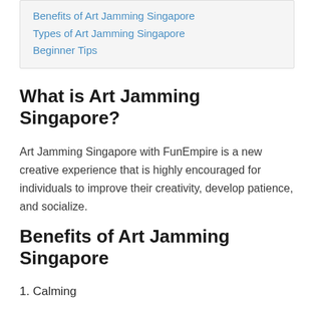Types of Art Jamming Singapore
Beginner Tips
What is Art Jamming Singapore?
Art Jamming Singapore with FunEmpire is a new creative experience that is highly encouraged for individuals to improve their creativity, develop patience, and socialize.
Benefits of Art Jamming Singapore
1. Calming